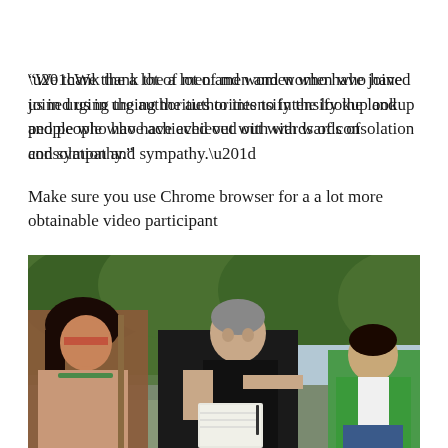peace to deal privately with what has happened to their beloved Dom.
“We thank the a lot of men and women who have joined us in urging the authorities to intensify the lookup and people who have achieved out with wards of consolation and sympathy.”
Make sure you use Chrome browser for a a lot more obtainable video participant
[Figure (photo): Outdoor photo showing three people near a river or flooded area with lush green vegetation in the background. On the left is a person with dark hair and traditional indigenous face paint and necklace. In the center is a middle-aged man in a black shirt writing in a notebook. On the right is a young man in a green and white t-shirt.]